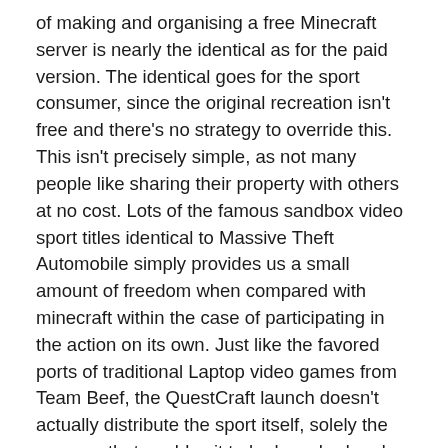of making and organising a free Minecraft server is nearly the identical as for the paid version. The identical goes for the sport consumer, since the original recreation isn't free and there's no strategy to override this. This isn't precisely simple, as not many people like sharing their property with others at no cost. Lots of the famous sandbox video sport titles identical to Massive Theft Automobile simply provides us a small amount of freedom when compared with minecraft within the case of participating in the action on its own. Just like the favored ports of traditional Laptop video games from Team Beef, the QuestCraft launch doesn't actually distribute the sport itself, solely the wrapper that enables it to be launched and played on Quest. Vanilla. That is the traditional implementation of the Minecraft server as provided by the developers of the sport. The developers of Minecraft - Mojang along side Microsoft - created Challenge Realms. Bukkit. It is a venture created by fanatics who wanted to break free of Microsoft's restrictions, and explore Minecraft's unlimited possibilities with modifications created by third-occasion developers and followers of the game. For this, you need to use a generic internet hosting provider and rent a devoted server to host your game world. Additionally improves the ambiance of the sport. This mod improves